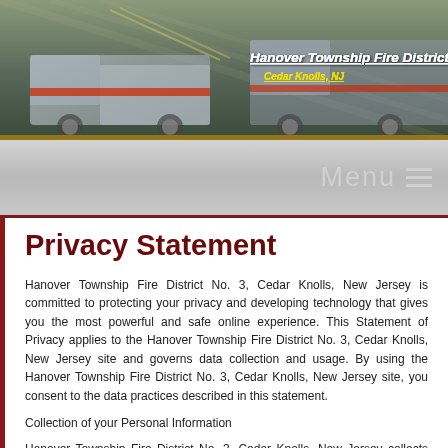[Figure (photo): Header banner showing fire trucks, with text overlay reading 'Hanover Township Fire District No.3' and 'Cedar Knolls, NJ']
Menu ≡
Privacy Statement
Hanover Township Fire District No. 3, Cedar Knolls, New Jersey is committed to protecting your privacy and developing technology that gives you the most powerful and safe online experience. This Statement of Privacy applies to the Hanover Township Fire District No. 3, Cedar Knolls, New Jersey site and governs data collection and usage. By using the Hanover Township Fire District No. 3, Cedar Knolls, New Jersey site, you consent to the data practices described in this statement.
Collection of your Personal Information
Hanover Township Fire District No. 3, Cedar Knolls, New Jersey collects personally identifiable information, such as your email address, name, home or work address or telephone number. Hanover Township Fire District No. 3, Cedar Knolls, New Jersey also collects anonymous demographic information, which is not unique to you, such as your ZIP code, age, gender, preferences, interests and favorites.